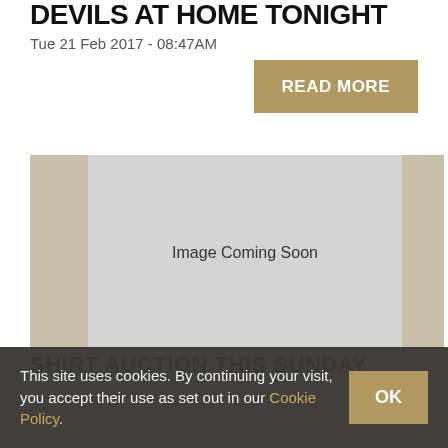DEVILS AT HOME TONIGHT
Tue 21 Feb 2017 - 08:47AM
READ MORE
[Figure (photo): Image Coming Soon placeholder with tan side strips]
SHIRT AUCTION THIS SUNDAY
This site uses cookies. By continuing your visit, you accept their use as set out in our Cookie Policy. OK